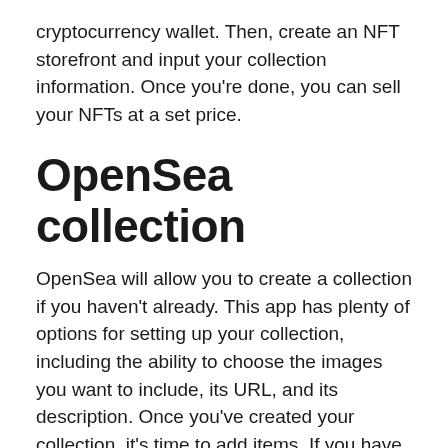cryptocurrency wallet. Then, create an NFT storefront and input your collection information. Once you're done, you can sell your NFTs at a set price.
OpenSea collection
OpenSea will allow you to create a collection if you haven't already. This app has plenty of options for setting up your collection, including the ability to choose the images you want to include, its URL, and its description. Once you've created your collection, it's time to add items. If you have any questions about how to do that, we'll be covering them in a moment.